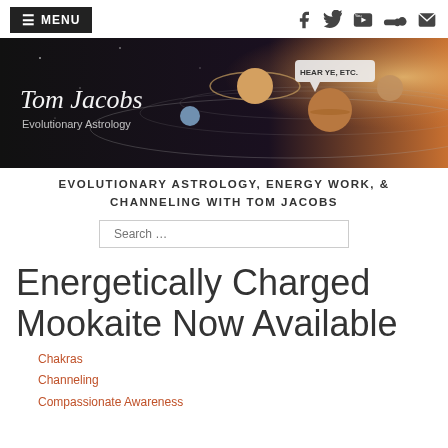≡ MENU
[Figure (illustration): Tom Jacobs Evolutionary Astrology website banner with planets and solar system on dark background, with text 'Tom Jacobs Evolutionary Astrology' and a speech bubble saying 'HEAR YE, ETC.']
EVOLUTIONARY ASTROLOGY, ENERGY WORK, & CHANNELING WITH TOM JACOBS
Search ...
Energetically Charged Mookaite Now Available
Chakras
Channeling
Compassionate Awareness